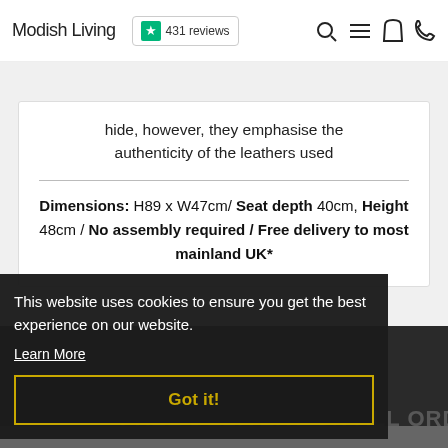Modish Living  ★ 431 reviews
hide, however, they emphasise the authenticity of the leathers used
Dimensions: H89 x W47cm/ Seat depth 40cm, Height 48cm / No assembly required / Free delivery to most mainland UK*
This website uses cookies to ensure you get the best experience on our website.
Learn More
FREE DELIVERY ON ALL ORDERS
Got it!